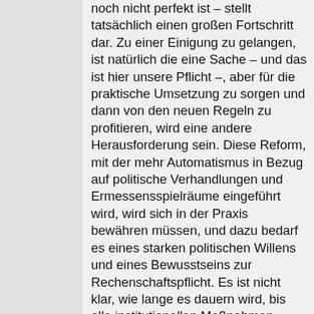noch nicht perfekt ist – stellt tatsächlich einen großen Fortschritt dar. Zu einer Einigung zu gelangen, ist natürlich die eine Sache – und das ist hier unsere Pflicht –, aber für die praktische Umsetzung zu sorgen und dann von den neuen Regeln zu profitieren, wird eine andere Herausforderung sein. Diese Reform, mit der mehr Automatismus in Bezug auf politische Verhandlungen und Ermessensspielräume eingeführt wird, wird sich in der Praxis bewähren müssen, und dazu bedarf es eines starken politischen Willens und eines Bewusstseins zur Rechenschaftspflicht. Es ist nicht klar, wie lange es dauern wird, bis alle institutionellen Maßnahmen vorhanden sind und die neuen Regeln Früchte tragen. Diese Unsicherheit schafft Risiken, und wir dürfen für diese Risiken natürlich Rechenschaft...